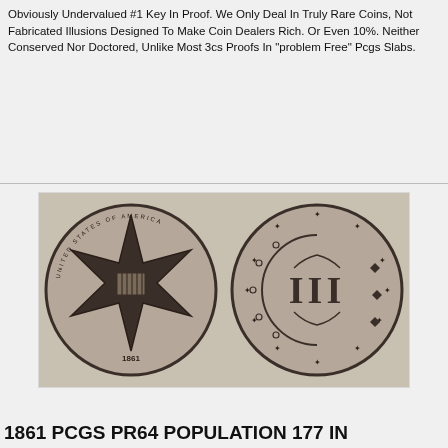Obviously Undervalued #1 Key In Proof. We Only Deal In Truly Rare Coins, Not Fabricated Illusions Designed To Make Coin Dealers Rich. Or Even 10%. Neither Conserved Nor Doctored, Unlike Most 3cs Proofs In "problem Free" Pcgs Slabs.
$1599.00
[Figure (photo): Two sides of an 1861 three-cent silver proof coin. Left side shows obverse with six-pointed star and 'United States of America' legend, dated 1861. Right side shows reverse with Roman numeral III surrounded by ornamental border and stars.]
1861 PCGS PR64 POPULATION 177 IN